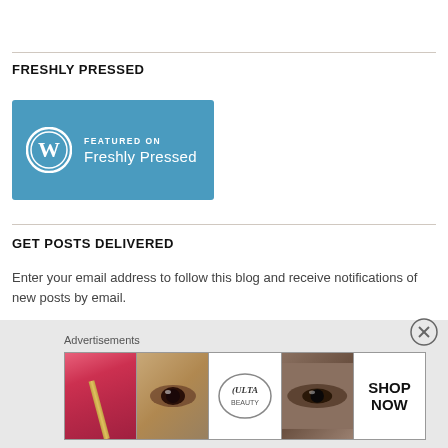FRESHLY PRESSED
[Figure (logo): WordPress 'Featured on Freshly Pressed' badge — blue rectangle with WordPress logo circle on left and 'FEATURED ON / Freshly Pressed' text in white on right]
GET POSTS DELIVERED
Enter your email address to follow this blog and receive notifications of new posts by email.
Email Address
Advertisements
[Figure (screenshot): Ulta Beauty advertisement banner showing makeup images (lips with brush, eye with mascara, smoky eye) and the Ulta logo with 'SHOP NOW' text on right]